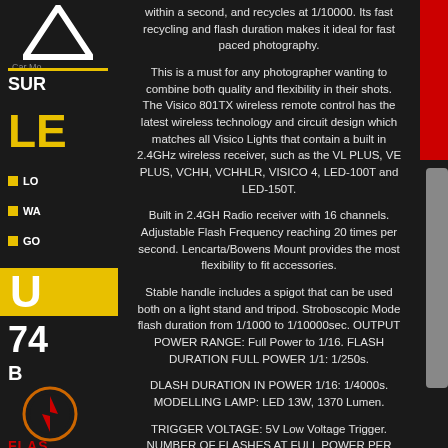within a second, and recycles at 1/10000. Its fast recycling and flash duration makes it ideal for fast paced photography.
This is a must for any photographer wanting to combine both quality and flexibility in their shots. The Visico 801TX wireless remote control has the latest wireless technology and circuit design which matches all Visico Lights that contain a built in 2.4GHz wireless receiver, such as the VL PLUS, VE PLUS, VCHH, VCHHLR, VISICO 4, LED-100T and LED-150T.
Built in 2.4GH Radio receiver with 16 channels. Adjustable Flash Frequency reaching 20 times per second. Lencarta/Bowens Mount provides the most flexibility to fit accessories.
Stable handle includes a spigot that can be used both on a light stand and tripod. Stroboscopic Mode flash duration from 1/1000 to 1/10000sec. OUTPUT POWER RANGE: Full Power to 1/16. FLASH DURATION FULL POWER 1/1: 1/250s.
DLASH DURATION IN POWER 1/16: 1/4000s. MODELLING LAMP: LED 13W, 1370 Lumen.
TRIGGER VOLTAGE: 5V Low Voltage Trigger. NUMBER OF FLASHES AT FULL POWER PER CHARGE: 700 Shots. TRIGGER POWER: CR2032 3V Button Cell.
WORK FREQUENCY: 2.4GHz worldwide. 1x Visico 4 Studio Light. 1x Visico 801TX Remote control Transmitter.
Lencarta is a well established British company that has specialised in lighting equipment for well over a decade. Our experience, expertise and commitment to customer service means that we guarantee that you'll get the best advice, the best service and the